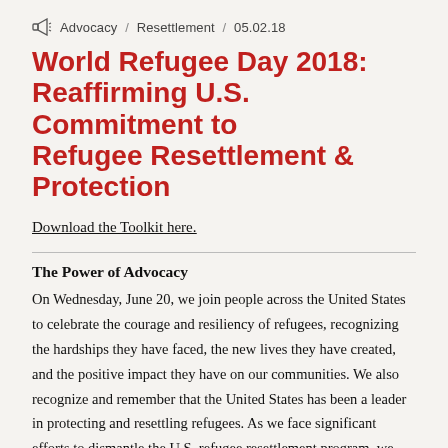Advocacy / Resettlement / 05.02.18
World Refugee Day 2018: Reaffirming U.S. Commitment to Refugee Resettlement & Protection
Download the Toolkit here.
The Power of Advocacy
On Wednesday, June 20, we join people across the United States to celebrate the courage and resiliency of refugees, recognizing the hardships they have faced, the new lives they have created, and the positive impact they have on our communities. We also recognize and remember that the United States has been a leader in protecting and resettling refugees. As we face significant efforts to dismantle the U.S. refugee resettlement program, we honor refugees' courage in